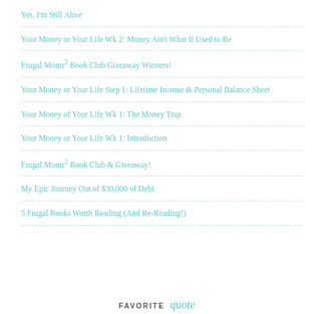Yes, I'm Still Alive
Your Money or Your Life Wk 2: Money Ain't What It Used to Be
Frugal Moms² Book Club Giveaway Winners!
Your Money or Your Life Step 1: Lifetime Income & Personal Balance Sheet
Your Money of Your Life Wk 1: The Money Trap
Your Money or Your Life Wk 1: Introduction
Frugal Moms² Book Club & Giveaway!
My Epic Journey Out of $30,000 of Debt
5 Frugal Books Worth Reading (And Re-Reading!)
FAVORITE quote